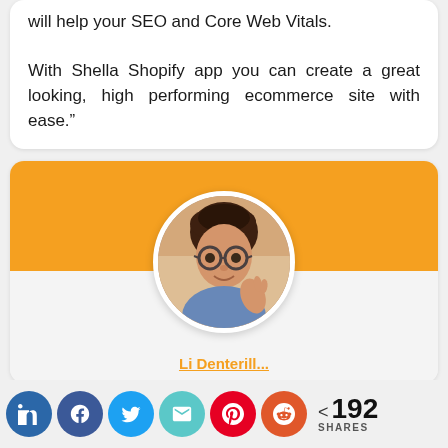will help your SEO and Core Web Vitals. With Shella Shopify app you can create a great looking, high performing ecommerce site with ease.”
[Figure (photo): Author profile card with orange banner background and circular profile photo of a young person with glasses and short brown hair, wearing a blue shirt, waving]
author name (partially visible, in orange underlined text)
Share buttons: LinkedIn, Facebook, Twitter, Email, Pinterest, Reddit | < 192 SHARES